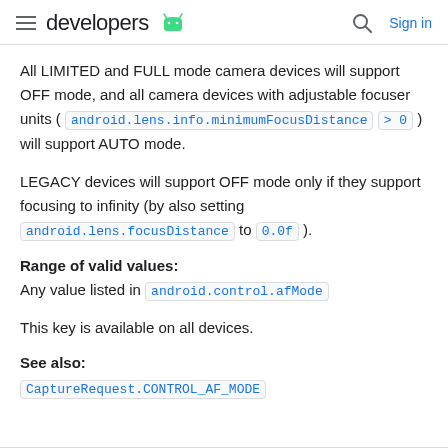developers
All LIMITED and FULL mode camera devices will support OFF mode, and all camera devices with adjustable focuser units ( android.lens.info.minimumFocusDistance > 0 ) will support AUTO mode.
LEGACY devices will support OFF mode only if they support focusing to infinity (by also setting android.lens.focusDistance to 0.0f ).
Range of valid values:
Any value listed in android.control.afMode
This key is available on all devices.
See also:
CaptureRequest.CONTROL_AF_MODE